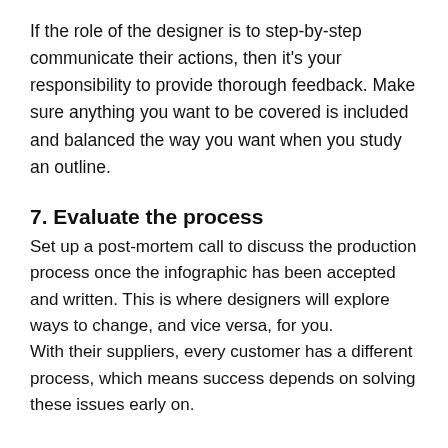If the role of the designer is to step-by-step communicate their actions, then it's your responsibility to provide thorough feedback. Make sure anything you want to be covered is included and balanced the way you want when you study an outline.
7. Evaluate the process
Set up a post-mortem call to discuss the production process once the infographic has been accepted and written. This is where designers will explore ways to change, and vice versa, for you.
With their suppliers, every customer has a different process, which means success depends on solving these issues early on.